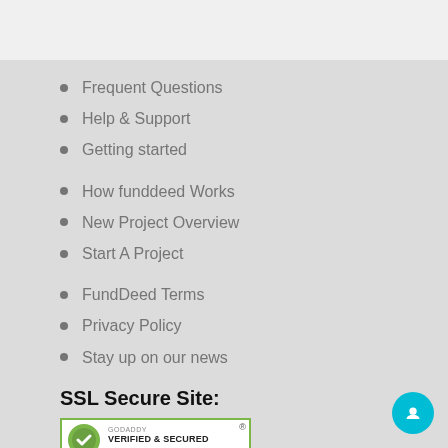Frequent Questions
Help & Support
Getting started
How funddeed Works
New Project Overview
Start A Project
FundDeed Terms
Privacy Policy
Stay up on our news
SSL Secure Site:
[Figure (logo): GoDaddy Verified & Secured badge with registered trademark symbol]